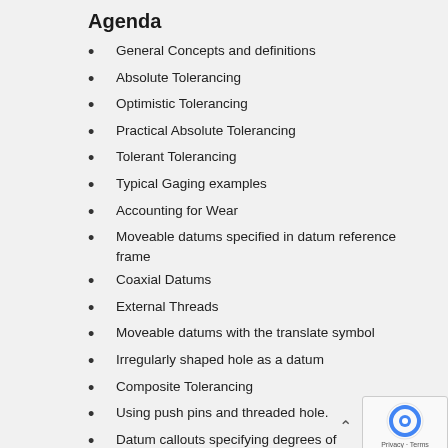Agenda
General Concepts and definitions
Absolute Tolerancing
Optimistic Tolerancing
Practical Absolute Tolerancing
Tolerant Tolerancing
Typical Gaging examples
Accounting for Wear
Moveable datums specified in datum reference frame
Coaxial Datums
External Threads
Moveable datums with the translate symbol
Irregularly shaped hole as a datum
Composite Tolerancing
Using push pins and threaded hole.
Datum callouts specifying degrees of